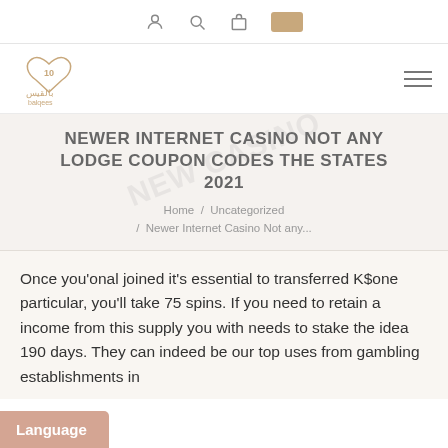Navigation icons bar
[Figure (logo): Balqees brand logo with Arabic text and heart, golden/tan color]
NEWER INTERNET CASINO NOT ANY LODGE COUPON CODES THE STATES 2021
Home / Uncategorized / Newer Internet Casino Not any...
Once you'onal joined it's essential to transferred K$one particular, you'll take 75 spins. If you need to retain a income from this supply you with needs to stake the idea 190 days. They can indeed be our top uses from gambling establishments in